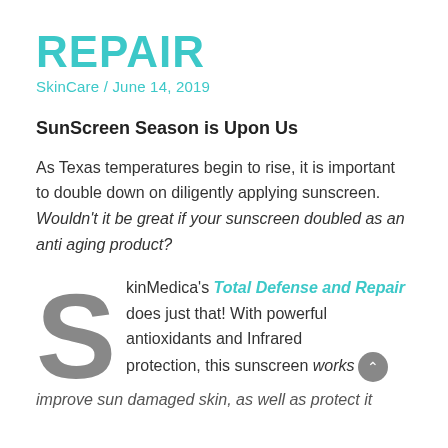REPAIR
SkinCare / June 14, 2019
SunScreen Season is Upon Us
As Texas temperatures begin to rise, it is important to double down on diligently applying sunscreen. Wouldn't it be great if your sunscreen doubled as an anti aging product?
SkinMedica's Total Defense and Repair does just that! With powerful antioxidants and Infrared protection, this sunscreen works improve sun damaged skin, as well as protect it